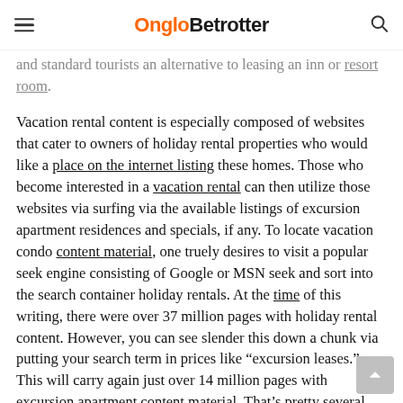OngloBetrotter
and standard tourists an alternative to leasing an inn or resort room.
Vacation rental content is especially composed of websites that cater to owners of holiday rental properties who would like a place on the internet listing these homes. Those who become interested in a vacation rental can then utilize those websites via surfing via the available listings of excursion apartment residences and specials, if any. To locate vacation condo content material, one truely desires to visit a popular seek engine consisting of Google or MSN seek and sort into the search container holiday rentals. At the time of this writing, there were over 37 million pages with holiday rental content. However, you can see slender this down a chunk via putting your search term in prices like “excursion leases.” This will carry again just over 14 million pages with excursion apartment content material. That’s pretty several